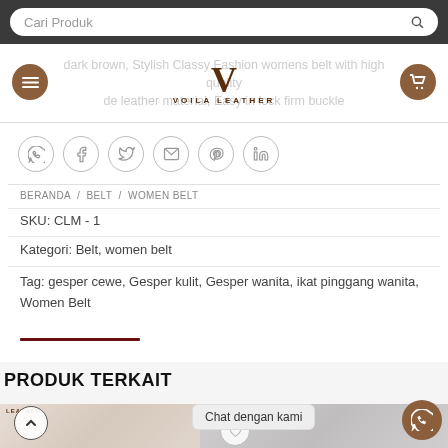Cari Produk
[Figure (logo): Voila Leather logo with stylized V and brand name]
dark brown, Stylish Classy Fashion womens belt with high quality de leather material, Easy in lock firm buckle
[Figure (infographic): Social share icons row: WhatsApp, Facebook, Twitter, Email, Pinterest, LinkedIn]
BERANDA / BELT / WOMEN BELT
SKU: CLM - 1
Kategori: Belt, women belt
Tag: gesper cewe, Gesper kulit, Gesper wanita, ikat pinggang wanita, Women Belt
PRODUK TERKAIT
Chat dengan kami